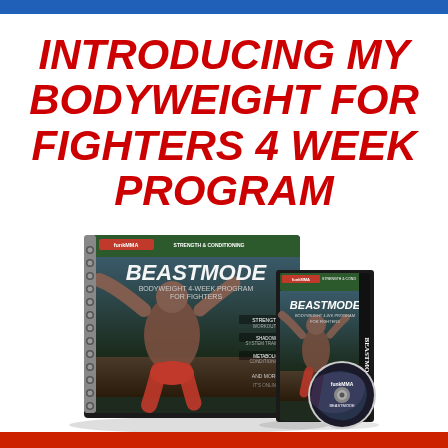INTRODUCING MY BODYWEIGHT FOR FIGHTERS 4 WEEK PROGRAM
[Figure (illustration): Product image showing a spiral-bound book and DVD case for 'BeastMode Bodyweight 4-Week Program for Fighters' by FunkMMA, with a muscular fighter on the cover in a dramatic pose, alongside a CD/DVD disc.]